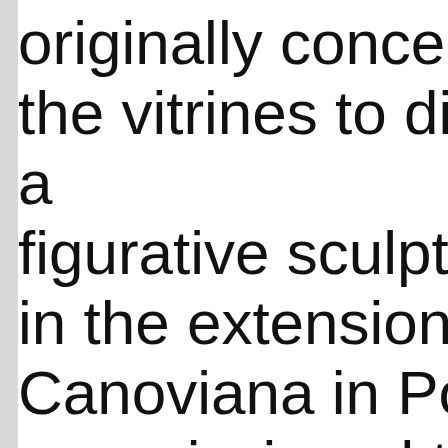originally conceived the vitrines to display figurative sculptures in the extension of the Canoviana in Possagno, commissioned to commemorate the bicentenary of the Italian neoclassical sculptor Canova's birth. The